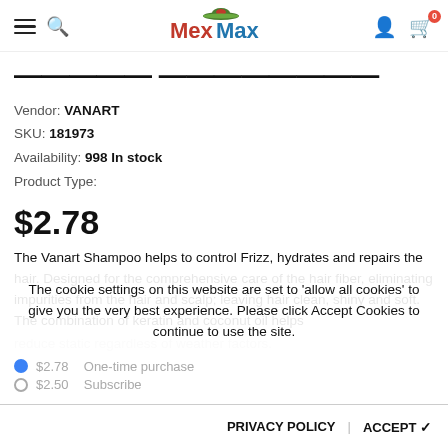MexMax — navigation header with hamburger menu, search icon, user icon, and cart (0)
Moisturizing Shampoo
Vendor: VANART
SKU: 181973
Availability: 998 In stock
Product Type:
$2.78
The Vanart Shampoo helps to control Frizz, hydrates and repairs the hair. Designed for the comprehensive care of the hair fiber, eliminating impurities from the hair and scalp; leaving hair clean, shiny and soft. The combination of keratin and coconut oil helps
reduce static regardless of weather factors.
The cookie settings on this website are set to 'allow all cookies' to give you the very best experience. Please click Accept Cookies to continue to use the site.
$2.78   One-time purchase
$2.50   Subscribe
PRIVACY POLICY | ACCEPT ✓